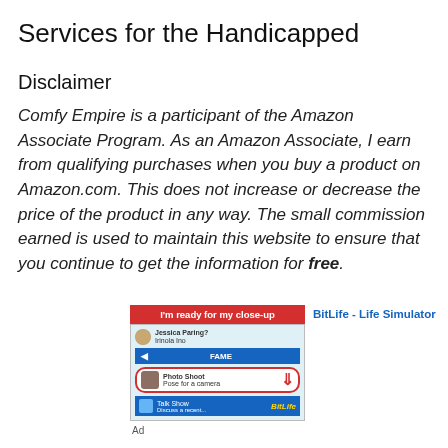Services for the Handicapped
Disclaimer
Comfy Empire is a participant of the Amazon Associate Program. As an Amazon Associate, I earn from qualifying purchases when you buy a product on Amazon.com. This does not increase or decrease the price of the product in any way. The small commission earned is used to maintain this website to ensure that you continue to get the information for free.
[Figure (screenshot): Advertisement for BitLife - Life Simulator app showing a game screenshot with Fame and Photo Shoot options, with a red banner reading I'm ready for my close-up and the BitLife app name in blue text. Labeled 'Ad' at bottom.]